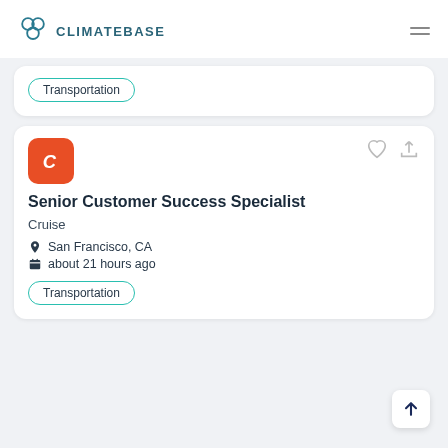CLIMATEBASE
Transportation
Senior Customer Success Specialist
Cruise
San Francisco, CA
about 21 hours ago
Transportation